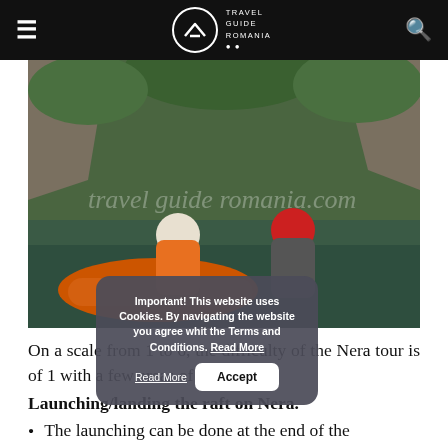Travel Guide Romania
[Figure (photo): Two people in orange inflatable raft on a river with rocky cliffs and green forest in background. One person wears white helmet with orange life jacket, another wears red helmet with grey wetsuit.]
On a scale from 1 to 6, the difficulty of the Nera tour is of 1 with a few areas of 2+.
Launching/landing the raft on Nera.
The launching can be done at the end of the
Important! This website uses Cookies. By navigating the website you agree whit the Terms and Conditions. Read More
Accept